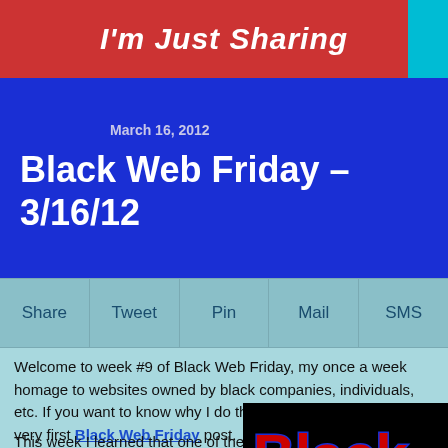I'm Just Sharing
March 16, 2012
Black Web Friday – 3/16/12
Share
Tweet
Pin
Mail
SMS
Welcome to week #9 of Black Web Friday, my once a week homage to websites owned by black companies, individuals, etc. If you want to know why I do this you can check out the very first Black Web Friday post.
This week I learned that one of the
[Figure (logo): Black Web Friday logo with red stylized text 'Black' on dark background]